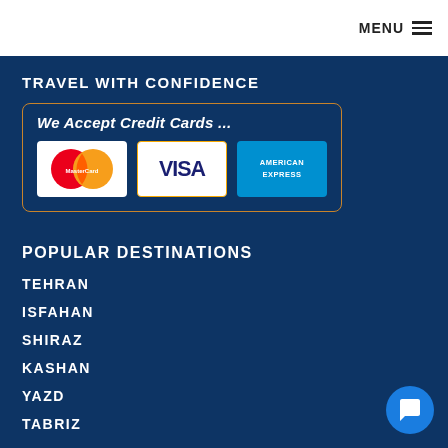MENU
TRAVEL WITH CONFIDENCE
[Figure (illustration): Credit card logos: MasterCard, Visa, American Express inside a rounded border box with label 'We Accept Credit Cards ...']
POPULAR DESTINATIONS
TEHRAN
ISFAHAN
SHIRAZ
KASHAN
YAZD
TABRIZ